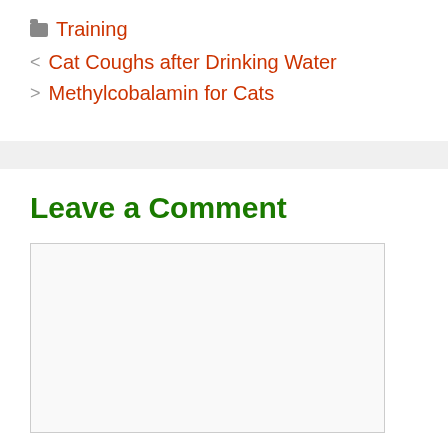Training
Cat Coughs after Drinking Water
Methylcobalamin for Cats
Leave a Comment